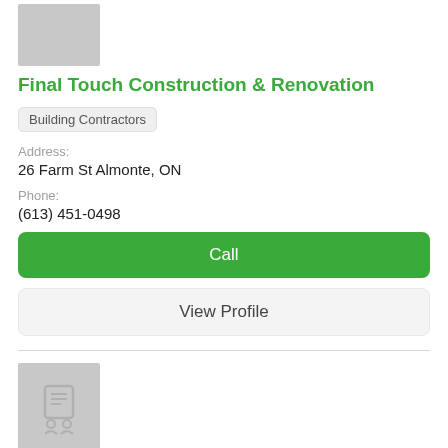[Figure (logo): Gray placeholder logo box for Final Touch Construction & Renovation]
Final Touch Construction & Renovation
Building Contractors
Address:
26 Farm St Almonte, ON
Phone:
(613) 451-0498
Call
View Profile
[Figure (logo): Gray placeholder logo box with a contractor/team icon for Eldon Munro Construction Inc]
Eldon Munro Construction Inc
Building Contractors